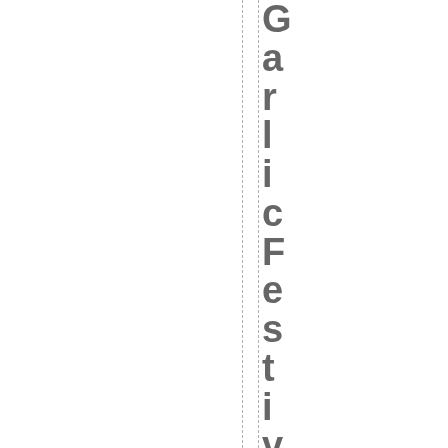[Figure (other): Vertical dashed lines running the full height of the page, with large bold gray text reading 'GarlicFestiv' displayed vertically character by character down the right side of the page (partially cut off at bottom, implying 'GarlicFestival')]